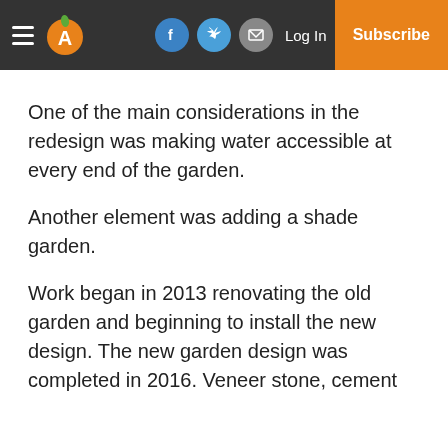Navigation bar with hamburger menu, logo, Facebook, Twitter, email social icons, Log In link, and Subscribe button
One of the main considerations in the redesign was making water accessible at every end of the garden.
Another element was adding a shade garden.
Work began in 2013 renovating the old garden and beginning to install the new design. The new garden design was completed in 2016. Veneer stone, cement